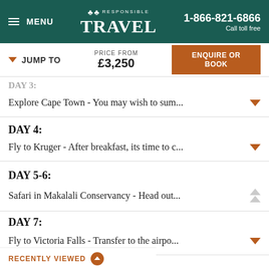MENU | RESPONSIBLE TRAVEL | 1-866-821-6866 Call toll free
JUMP TO | PRICE FROM £3,250 | ENQUIRE OR BOOK
DAY 3: (truncated)
Explore Cape Town - You may wish to sum...
DAY 4:
Fly to Kruger - After breakfast, its time to c...
DAY 5-6:
Safari in Makalali Conservancy - Head out...
DAY 7:
Fly to Victoria Falls - Transfer to the airpo...
RECENTLY VIEWED